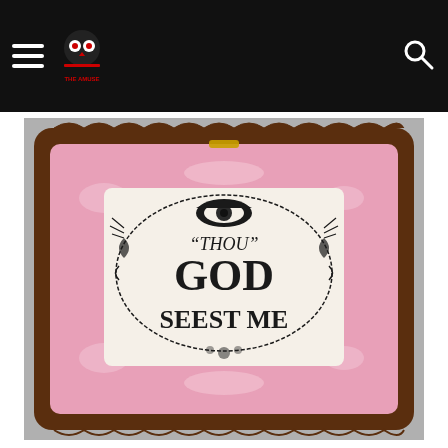Navigation header with hamburger menu, logo, and search icon
[Figure (photo): A ceramic plaque shaped like a decorative picture frame with a pink luster glaze and dark brown scalloped border. The center shows a printed transfer design with an eye at the top, surrounded by floral and foliate decorations, with the text 'THOU GOD SEEST ME' in bold lettering.]